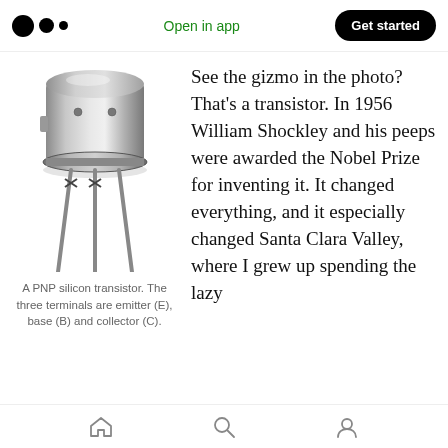Open in app | Get started
[Figure (photo): A PNP silicon transistor component with three metal leads extending from a cylindrical metal cap housing.]
A PNP silicon transistor. The three terminals are emitter (E), base (B) and collector (C).
See the gizmo in the photo? That's a transistor. In 1956 William Shockley and his peeps were awarded the Nobel Prize for inventing it. It changed everything, and it especially changed Santa Clara Valley, where I grew up spending the lazy
Home | Search | Profile